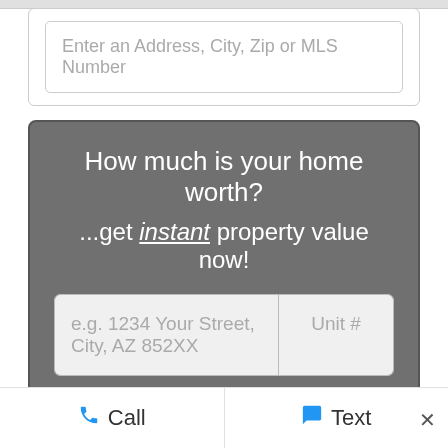[Figure (screenshot): Search input box with placeholder text 'Enter an Address, City, Zip or MLS Number']
[Figure (infographic): Home value widget with dark gray background containing headline 'How much is your home worth?', subtitle '...get instant property value now!', address input fields (e.g. 1234 Your Street, City, AZ 852XX and Unit #), and a Submit button]
[Figure (screenshot): Bottom navigation bar with Call and Text options, and a close (x) button]